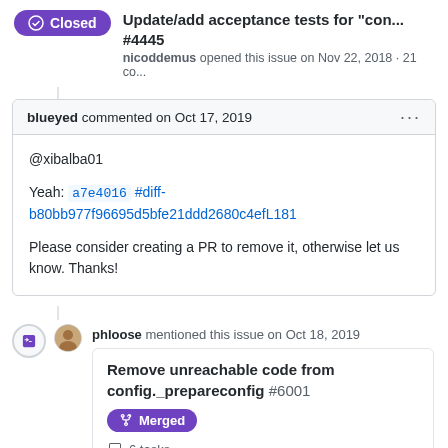Update/add acceptance tests for "con..." #4445 — nicoddemus opened this issue on Nov 22, 2018 · 21 co...
blueyed commented on Oct 17, 2019
@xibalba01
Yeah: a7e4016 #diff-b80bb977f96695d5bfe21ddd2680c4efL181

Please consider creating a PR to remove it, otherwise let us know. Thanks!
phloose mentioned this issue on Oct 18, 2019
Remove unreachable code from config._prepareconfig #6001
Merged
6 tasks